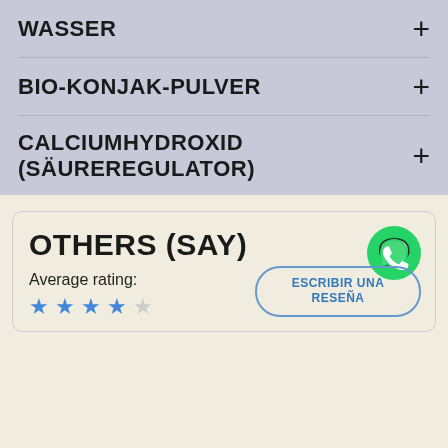WASSER
BIO-KONJAK-PULVER
CALCIUMHYDROXID (SÄUREREGULATOR)
OTHERS (SAY)
Average rating:
[Figure (other): WhatsApp contact button (green circle with phone/chat icon)]
ESCRIBIR UNA RESEÑA